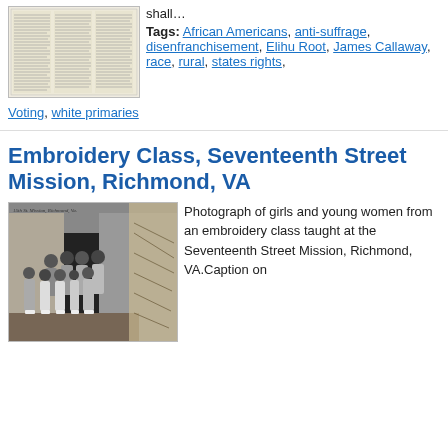[Figure (photo): Thumbnail image of a newspaper article with three columns of printed text on aged paper background.]
shall…
Tags: African Americans, anti-suffrage, disenfranchisement, Elihu Root, James Callaway, race, rural, states rights,
Voting, white primaries
Embroidery Class, Seventeenth Street Mission, Richmond, VA
[Figure (photo): Black and white photograph of a group of girls and young women posed outside a building (15th St. Mission, Richmond, Va.) with handwritten cursive annotation along the right side of the image.]
Photograph of girls and young women from an embroidery class taught at the Seventeenth Street Mission, Richmond, VA.Caption on